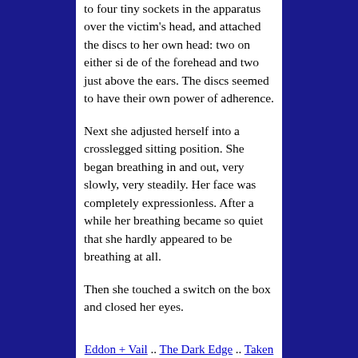to four tiny sockets in the apparatus over the victim's head, and attached the discs to her own head: two on either si de of the forehead and two just above the ears. The discs seemed to have their own power of adherence.

Next she adjusted herself into a crosslegged sitting position. She began breathing in and out, very slowly, very steadily. Her face was completely expressionless. After a while her breathing became so quiet that she hardly appeared to be breathing at all.

Then she touched a switch on the box and closed her eyes.
Eddon + Vail .. The Dark Edge .. Taken by Force .. Hidden from View .. Reviews